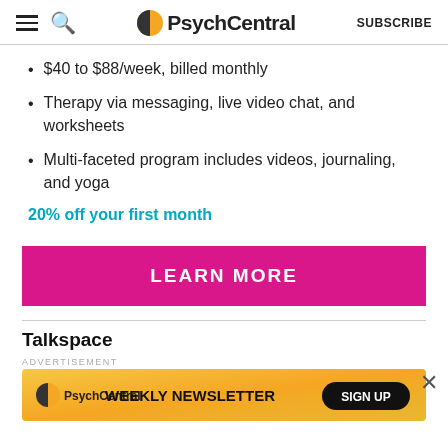PsychCentral | SUBSCRIBE
$40 to $88/week, billed monthly
Therapy via messaging, live video chat, and worksheets
Multi-faceted program includes videos, journaling, and yoga
20% off your first month
LEARN MORE
Talkspace
ADVERTISEMENT
[Figure (screenshot): PsychCentral Weekly Newsletter advertisement banner with orange/yellow background, PsychCentral logo, WEEKLY NEWSLETTER text, and SIGN UP button]